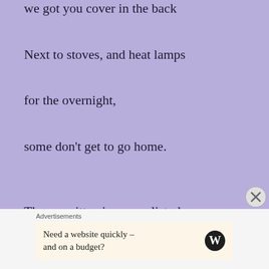we got you cover in the back
Next to stoves, and heat lamps
for the overnight,
some don’t get to go home.
There, written in a populist play,
give them what they want,
and all power shall be yours
Advertisements
Need a website quickly – and on a budget?